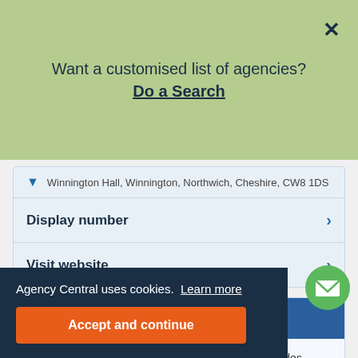Want a customised list of agencies? Do a Search
Winnington Hall, Winnington, Northwich, Cheshire, CW8 1DS
Display number
Visit website
The TRG Group
The TRG Group is a recruitment business that provides contract, d Business Support ple sectors inclu ecoms, Insuran and is based in
Agency Central uses cookies. Learn more
Accept and continue